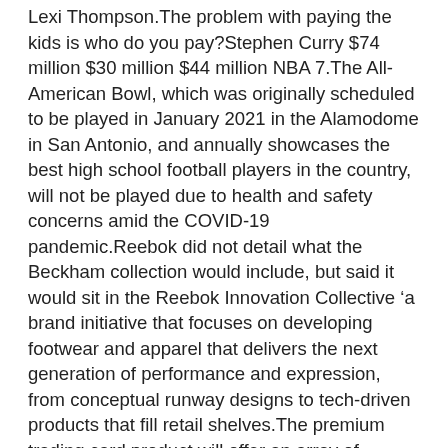Lexi Thompson.The problem with paying the kids is who do you pay?Stephen Curry $74 million $30 million $44 million NBA 7.The All-American Bowl, which was originally scheduled to be played in January 2021 in the Alamodome in San Antonio, and annually showcases the best high school football players in the country, will not be played due to health and safety concerns amid the COVID-19 pandemic.Reebok did not detail what the Beckham collection would include, but said it would sit in the Reebok Innovation Collective ‘a brand initiative that focuses on developing footwear and apparel that delivers the next generation of performance and expression, from conceptual runway designs to tech-driven products that fill retail shelves.The premium trading card product will offer an array of autograph and memorabilia cards from golf icons and rising stars, including Tiger Woods, Arnold Palmer, Annika Sorenstam, Bryson DeChambeau, Collin Morikawa, Justin Thomas, Matthew Wolff, Danielle Kang and Lexi Thompson.